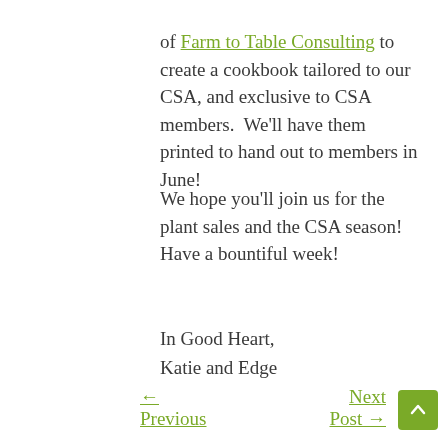of Farm to Table Consulting to create a cookbook tailored to our CSA, and exclusive to CSA members.  We'll have them printed to hand out to members in June!
We hope you'll join us for the plant sales and the CSA season!  Have a bountiful week!
In Good Heart,
Katie and Edge
← Previous   Next Post →